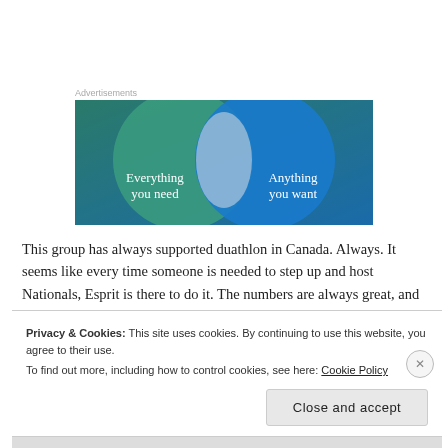Advertisements
[Figure (illustration): Advertisement banner showing a Venn diagram with two overlapping circles on a teal/blue gradient background. Left green circle labeled 'Everything you need', right blue circle labeled 'Anything you want', overlapping in a lighter center area.]
This group has always supported duathlon in Canada. Always. It seems like every time someone is needed to step up and host Nationals, Esprit is there to do it. The numbers are always great, and it is in…
Privacy & Cookies: This site uses cookies. By continuing to use this website, you agree to their use.
To find out more, including how to control cookies, see here: Cookie Policy
Close and accept